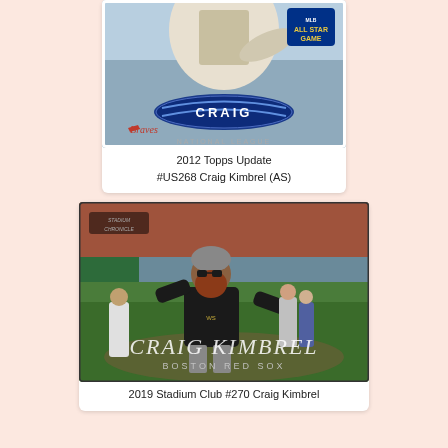[Figure (photo): 2012 Topps Update baseball card #US268 Craig Kimbrel All-Star Game, Atlanta Braves, National League]
2012 Topps Update #US268 Craig Kimbrel (AS)
[Figure (photo): 2019 Stadium Club #270 Craig Kimbrel baseball card showing Kimbrel celebrating on field at Fenway Park, Boston Red Sox]
2019 Stadium Club #270 Craig Kimbrel